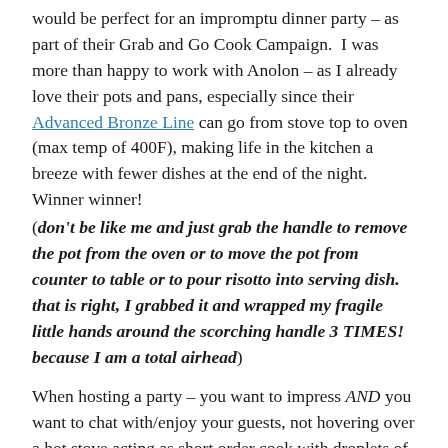would be perfect for an impromptu dinner party – as part of their Grab and Go Cook Campaign.  I was more than happy to work with Anolon – as I already love their pots and pans, especially since their Advanced Bronze Line can go from stove top to oven (max temp of 400F), making life in the kitchen a breeze with fewer dishes at the end of the night.  Winner winner!
(don't be like me and just grab the handle to remove the pot from the oven or to move the pot from counter to table or to pour risotto into serving dish.  that is right, I grabbed it and wrapped my fragile little hands around the scorching handle 3 TIMES! because I am a total airhead)
When hosting a party – you want to impress AND you want to chat with/enjoy your guests, not hovering over a hot stove acting as short order cook with droplets of